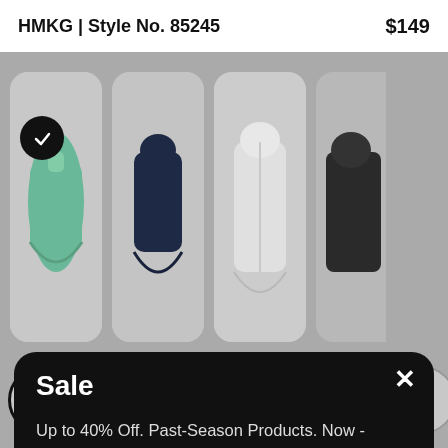HMKG | Style No. 85245
$149
[Figure (screenshot): Four jacket color swatches in a horizontal row. First swatch (green/teal jacket) is selected with a black checkmark circle. Second shows a navy blue jacket. Third shows a light grey jacket. Fourth is partially visible dark jacket.]
[Figure (screenshot): Size selector row with circular buttons: XXS (selected, outlined in black), XS, S, M, L, XL, and a partially visible next size.]
Sale
Up to 40% Off. Past-Season Products. Now - August 31, 2022.
Shop Sale